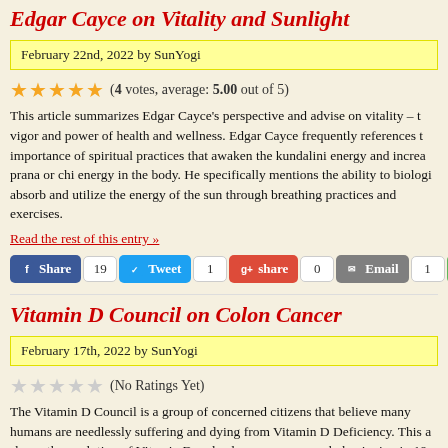Edgar Cayce on Vitality and Sunlight
February 22nd, 2022 by SunYogi
(4 votes, average: 5.00 out of 5)
This article summarizes Edgar Cayce's perspective and advise on vitality – the vigor and power of health and wellness. Edgar Cayce frequently references the importance of spiritual practices that awaken the kundalini energy and increase prana or chi energy in the body. He specifically mentions the ability to biologically absorb and utilize the energy of the sun through breathing practices and exercises.
Read the rest of this entry »
Vitamin D Council on Colon Cancer
February 17th, 2022 by SunYogi
(No Ratings Yet)
The Vitamin D Council is a group of concerned citizens that believe many humans are needlessly suffering and dying from Vitamin D Deficiency. This article shares the evolution of Vitamin D and colon cancer research, beginning in 19…